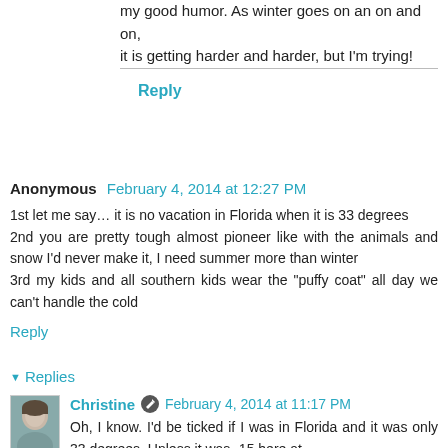my good humor. As winter goes on an on and on, it is getting harder and harder, but I'm trying!
Reply
Anonymous  February 4, 2014 at 12:27 PM
1st let me say… it is no vacation in Florida when it is 33 degrees
2nd you are pretty tough almost pioneer like with the animals and snow I'd never make it, I need summer more than winter
3rd my kids and all southern kids wear the "puffy coat" all day we can't handle the cold
Reply
▼ Replies
Christine  February 4, 2014 at 11:17 PM
Oh, I know. I'd be ticked if I was in Florida and it was only 33 degrees. Unless it was -15 here at